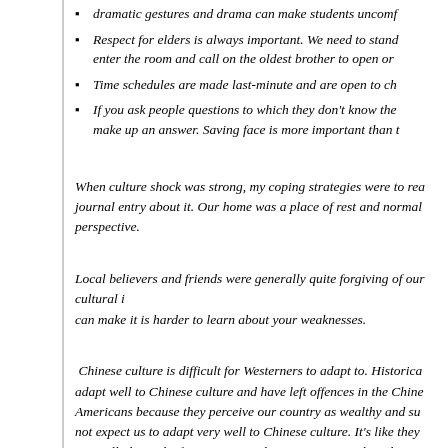dramatic gestures and drama can make students uncomf...
Respect for elders is always important. We need to stand... enter the room and call on the oldest brother to open or...
Time schedules are made last-minute and are open to ch...
If you ask people questions to which they don't know the... make up an answer. Saving face is more important than t...
When culture shock was strong, my coping strategies were to rea... journal entry about it. Our home was a place of rest and norma... perspective.
Local believers and friends were generally quite forgiving of our cultural i... can make it is harder to learn about your weaknesses.
Chinese culture is difficult for Westerners to adapt to. Historica... adapt well to Chinese culture and have left offences in the Chine... Americans because they perceive our country as wealthy and su... not expect us to adapt very well to Chinese culture. It's like they... You will always be foreigners. We don't expect more than that."